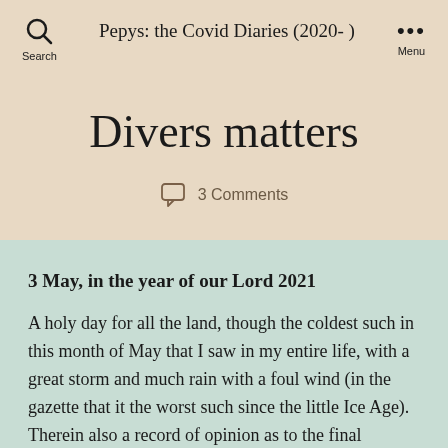Pepys: the Covid Diaries (2020-)
Divers matters
3 Comments
3 May, in the year of our Lord 2021
A holy day for all the land, though the coldest such in this month of May that I saw in my entire life, with a great storm and much rain with a foul wind (in the gazette that it the worst such since the little Ice Age). Therein also a record of opinion as to the final